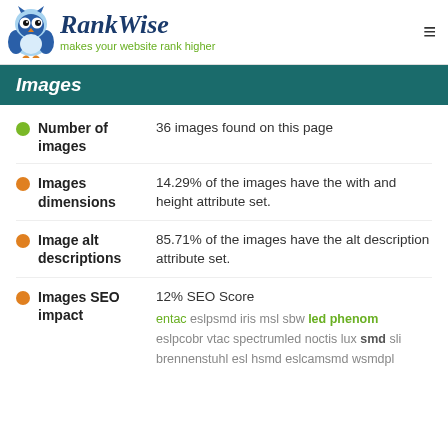RankWise makes your website rank higher
Images
Number of images: 36 images found on this page
Images dimensions: 14.29% of the images have the with and height attribute set.
Image alt descriptions: 85.71% of the images have the alt description attribute set.
Images SEO impact: 12% SEO Score. entac eslpsmd iris msl sbw led phenom eslpcobr vtac spectrumled noctis lux smd sli brennenstuhl esl hsmd eslcamsmd wsmdpl